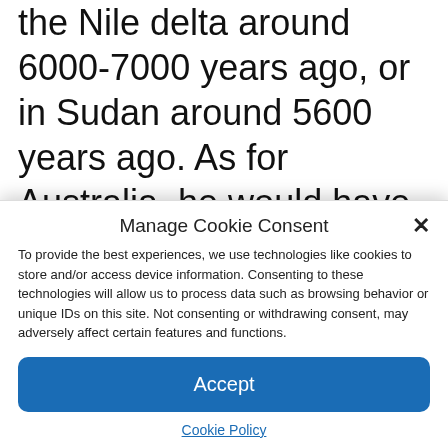the Nile delta around 6000-7000 years ago, or in Sudan around 5600 years ago. As for Australia, he would have arrived there around 3450 years ago. Domesticated, the dog has become man's most faithful friend. Through the study of the myths associated with it, as much as the data of archeology or paleogenetics, it is possible to achieve more
Manage Cookie Consent
To provide the best experiences, we use technologies like cookies to store and/or access device information. Consenting to these technologies will allow us to process data such as browsing behavior or unique IDs on this site. Not consenting or withdrawing consent, may adversely affect certain features and functions.
Accept
Cookie Policy